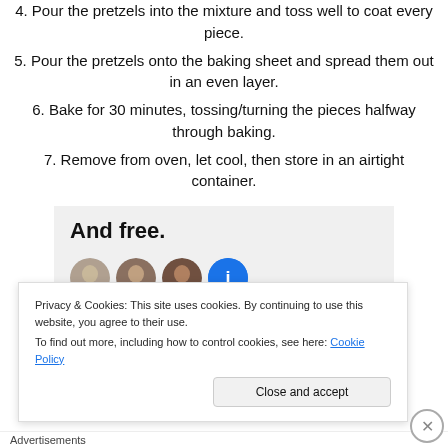4. Pour the pretzels into the mixture and toss well to coat every piece.
5. Pour the pretzels onto the baking sheet and spread them out in an even layer.
6. Bake for 30 minutes, tossing/turning the pieces halfway through baking.
7. Remove from oven, let cool, then store in an airtight container.
[Figure (illustration): Gray banner with bold text 'And free.' and four circular avatar photos/icons below]
Privacy & Cookies: This site uses cookies. By continuing to use this website, you agree to their use. To find out more, including how to control cookies, see here: Cookie Policy
Close and accept
Advertisements